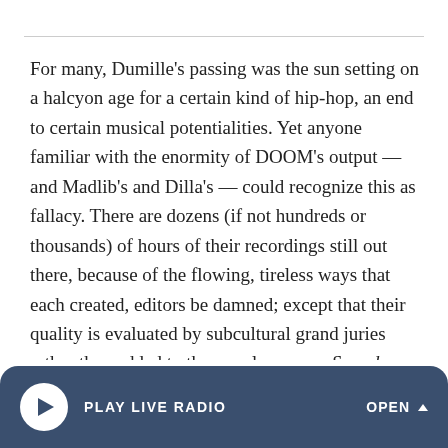For many, Dumille's passing was the sun setting on a halcyon age for a certain kind of hip-hop, an end to certain musical potentialities. Yet anyone familiar with the enormity of DOOM's output — and Madlib's and Dilla's — could recognize this as fallacy. There are dozens (if not hundreds or thousands) of hours of their recordings still out there, because of the flowing, tireless ways that each created, editors be damned; except that their quality is evaluated by subcultural grand juries rather than added to the popular canon. Sound Ancestors was almost implicitly created to counter both of these notions.
Here's Madlib, who never stopped working, still making